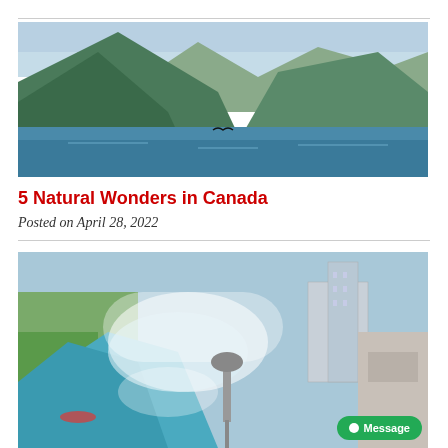[Figure (photo): Aerial or water-level view of a mountain lake or fjord in Canada, with forested green mountains on both sides and calm blue water in the foreground. A bird or small object visible near the water surface.]
5 Natural Wonders in Canada
Posted on April 28, 2022
[Figure (photo): Aerial view of Niagara Falls, showing the horseshoe falls with mist, the Skylon Tower, surrounding tourist infrastructure, hotels and parking areas visible on the right side.]